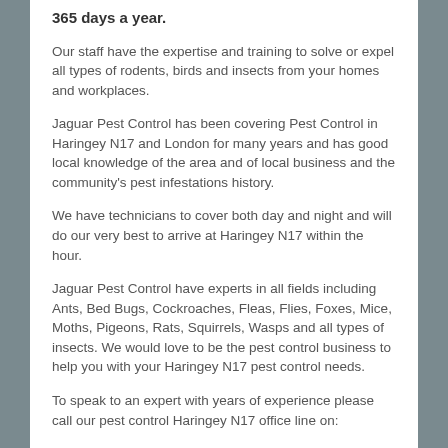365 days a year.
Our staff have the expertise and training to solve or expel all types of rodents, birds and insects from your homes and workplaces.
Jaguar Pest Control has been covering Pest Control in Haringey N17 and London for many years and has good local knowledge of the area and of local business and the community's pest infestations history.
We have technicians to cover both day and night and will do our very best to arrive at Haringey N17 within the hour.
Jaguar Pest Control have experts in all fields including Ants, Bed Bugs, Cockroaches, Fleas, Flies, Foxes, Mice, Moths, Pigeons, Rats, Squirrels, Wasps and all types of insects. We would love to be the pest control business to help you with your Haringey N17 pest control needs.
To speak to an expert with years of experience please call our pest control Haringey N17 office line on: